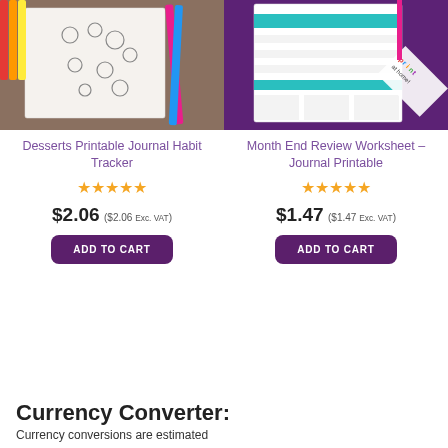[Figure (photo): Desserts Printable Journal Habit Tracker product image showing colored pencils and a notebook with dessert doodles]
[Figure (photo): Month End Review Worksheet Journal Printable product image showing a purple planner/journal with a print at home banner]
Desserts Printable Journal Habit Tracker
Month End Review Worksheet – Journal Printable
★★★★★
★★★★★
$2.06 ($2.06 Exc. VAT)
$1.47 ($1.47 Exc. VAT)
ADD TO CART
ADD TO CART
Currency Converter:
Currency conversions are estimated